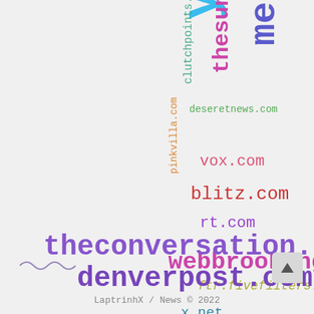[Figure (infographic): Word cloud of website/domain names in various colors and sizes, with the largest words being youtube.com, metro.co.uk, theconversation.com, and denverpost.com]
LaptrinhX / News © 2022